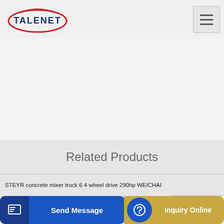TALENET
[Figure (illustration): White background image area below header]
Related Products
STEYR concrete mixer truck 6 4 wheel drive 290hp WEICHAI
Concrete Concrete Equipment Products Concrete Pumps
…borou…
Send Message
Inquiry Online